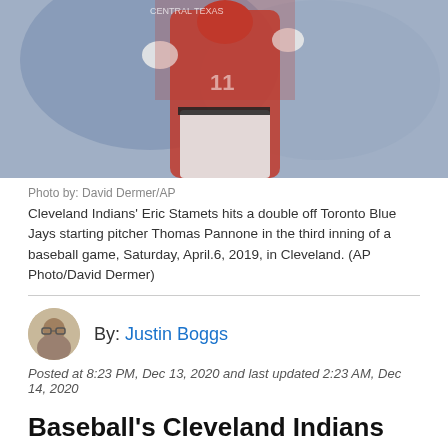[Figure (photo): Baseball player in red Cleveland Indians uniform hitting, action shot]
Photo by: David Dermer/AP
Cleveland Indians' Eric Stamets hits a double off Toronto Blue Jays starting pitcher Thomas Pannone in the third inning of a baseball game, Saturday, April.6, 2019, in Cleveland. (AP Photo/David Dermer)
By: Justin Boggs
Posted at 8:23 PM, Dec 13, 2020 and last updated 2:23 AM, Dec 14, 2020
Baseball's Cleveland Indians are going to drop their nickname after 105 years, the New York Times first reported on Sunday.